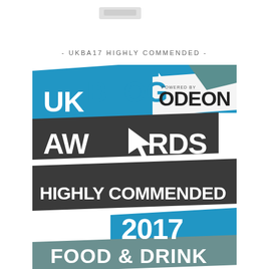[Figure (logo): Partially visible logo at top center]
- UKBA17 HIGHLY COMMENDED -
[Figure (logo): UK Blog Awards Highly Commended 2017 badge - blue and dark grey graphic with text: UK BLOG AWARDS, HIGHLY COMMENDED, 2017, FOOD & DRINK, POWERED BY ODEON]